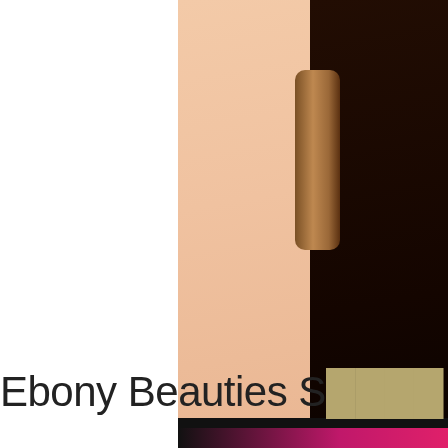[Figure (photo): Close-up photo showing skin tones, partially obscured by a tan/khaki colored rectangular overlay block in the lower right area. A black bar runs horizontally across the middle portion.]
Ebony Beauties S[obscured]...